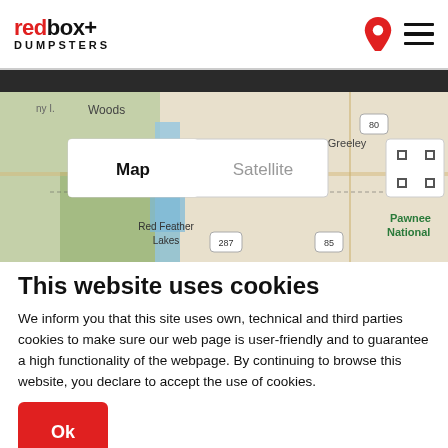redbox+ DUMPSTERS
[Figure (map): Google Maps view showing Red Feather Lakes, Pawnee National area, Sheyenne, South Greeley, with Map/Satellite toggle buttons visible]
This website uses cookies
We inform you that this site uses own, technical and third parties cookies to make sure our web page is user-friendly and to guarantee a high functionality of the webpage. By continuing to browse this website, you declare to accept the use of cookies.